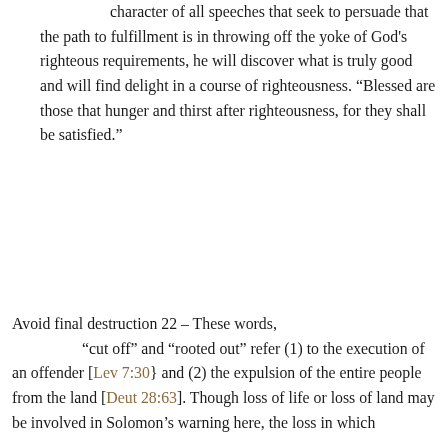If one can learn to discern the deceitful character of all speeches that seek to persuade that the path to fulfillment is in throwing off the yoke of God's righteous requirements, he will discover what is truly good and will find delight in a course of righteousness. “Blessed are those that hunger and thirst after righteousness, for they shall be satisfied.”
Avoid final destruction 22 – These words, “cut off” and “rooted out” refer (1) to the execution of an offender [Lev 7:30} and (2) the expulsion of the entire people from the land [Deut 28:63]. Though loss of life or loss of land may be involved in Solomon’s warning here, the loss in which